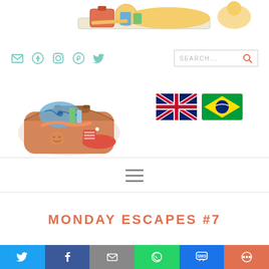[Figure (illustration): Cartoon illustration of a character lying on a mat with luggage, partially cropped at top]
[Figure (infographic): Navigation bar with social media icons (email, facebook, instagram, pinterest, twitter) and a search box]
[Figure (illustration): Blog logo: colorful open suitcase with travel items and a red sneaker]
[Figure (illustration): UK flag and Brazilian flag icons side by side]
[Figure (infographic): Hamburger menu icon (three horizontal lines)]
MONDAY ESCAPES #7
[Figure (infographic): Social share bar with Twitter, Facebook, Email, WhatsApp, SMS, and More buttons]